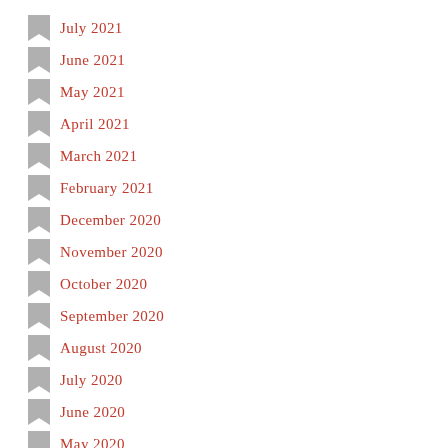July 2021
June 2021
May 2021
April 2021
March 2021
February 2021
December 2020
November 2020
October 2020
September 2020
August 2020
July 2020
June 2020
May 2020
April 2020
March 2020
February 2020
January 2020